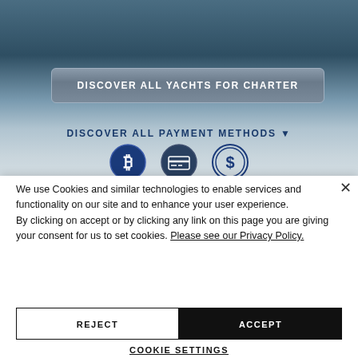[Figure (screenshot): Website background showing ocean/water scene with blurred gradient, a 'DISCOVER ALL YACHTS FOR CHARTER' button, and a 'DISCOVER ALL PAYMENT METHODS' section with payment icon circles (Bitcoin, credit card, dollar sign)]
We use Cookies and similar technologies to enable services and functionality on our site and to enhance your user experience.
By clicking on accept or by clicking any link on this page you are giving your consent for us to set cookies. Please see our Privacy Policy.
REJECT
ACCEPT
COOKIE SETTINGS